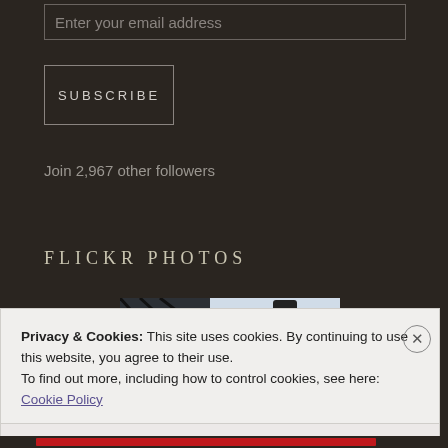Enter your email address
SUBSCRIBE
Join 2,967 other followers
FLICKR PHOTOS
[Figure (photo): A green glass bottle with a dark cap, partially visible against a light background with dark diagonal shadows/structures]
Privacy & Cookies: This site uses cookies. By continuing to use this website, you agree to their use.
To find out more, including how to control cookies, see here: Cookie Policy
Close and accept